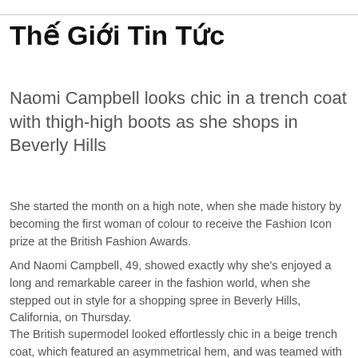Thế Giới Tin Tức
Naomi Campbell looks chic in a trench coat with thigh-high boots as she shops in Beverly Hills
She started the month on a high note, when she made history by becoming the first woman of colour to receive the Fashion Icon prize at the British Fashion Awards.
And Naomi Campbell, 49, showed exactly why she's enjoyed a long and remarkable career in the fashion world, when she stepped out in style for a shopping spree in Beverly Hills, California, on Thursday.
The British supermodel looked effortlessly chic in a beige trench coat, which featured an asymmetrical hem, and was teamed with black thigh-high suede boots.